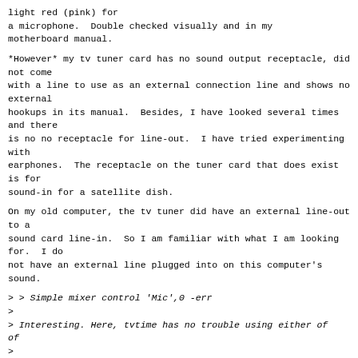light red (pink) for
a microphone.  Double checked visually and in my
motherboard manual.
*However* my tv tuner card has no sound output receptacle, did not come
with a line to use as an external connection line and shows no external
hookups in its manual.  Besides, I have looked several times and there
is no no receptacle for line-out.  I have tried experimenting with
earphones.  The receptacle on the tuner card that does exist is for
sound-in for a satellite dish.
On my old computer, the tv tuner did have an external line-out to a
sound card line-in.  So I am familiar with what I am looking for.  I do
not have an external line plugged into on this computer's sound.
> > Simple mixer control 'Mic',0 -err
>
> Interesting. Here, tvtime has no trouble using either of
>
>   tvtime --mixer=default/Mic